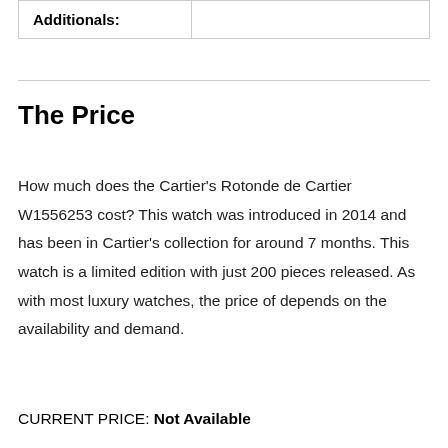| Additionals: |  |
| --- | --- |
|  |
The Price
How much does the Cartier's Rotonde de Cartier W1556253 cost? This watch was introduced in 2014 and has been in Cartier's collection for around 7 months. This watch is a limited edition with just 200 pieces released. As with most luxury watches, the price of depends on the availability and demand.
CURRENT PRICE: Not Available